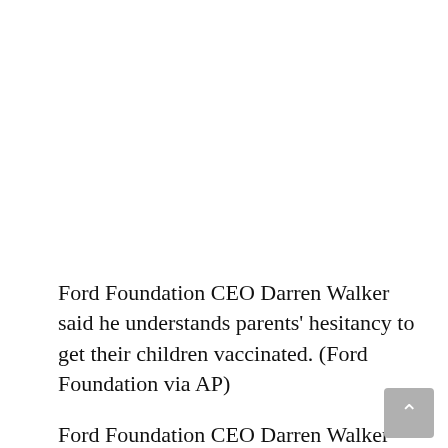Ford Foundation CEO Darren Walker said he understands parents' hesitancy to get their children vaccinated. (Ford Foundation via AP)
Ford Foundation CEO Darren Walker said he understands parents' hesitancy to get